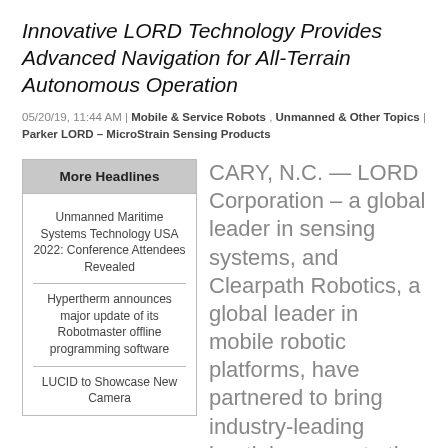Innovative LORD Technology Provides Advanced Navigation for All-Terrain Autonomous Operation
05/20/19, 11:44 AM | Mobile & Service Robots , Unmanned & Other Topics | Parker LORD – MicroStrain Sensing Products
More Headlines
Unmanned Maritime Systems Technology USA 2022: Conference Attendees Revealed
Hypertherm announces major update of its Robotmaster offline programming software
LUCID to Showcase New Camera
CARY, N.C. — LORD Corporation – a global leader in sensing systems, and Clearpath Robotics, a global leader in mobile robotic platforms, have partnered to bring industry-leading inertial sensors to the Clearpath research